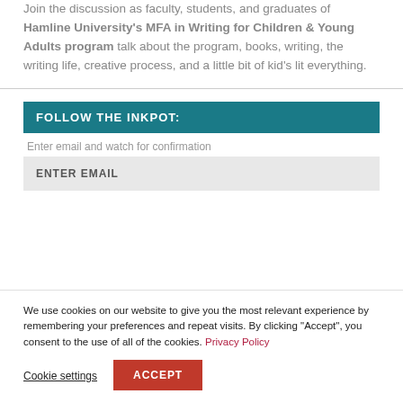Join the discussion as faculty, students, and graduates of Hamline University's MFA in Writing for Children & Young Adults program talk about the program, books, writing, the writing life, creative process, and a little bit of kid's lit everything.
FOLLOW THE INKPOT:
Enter email and watch for confirmation
ENTER EMAIL
We use cookies on our website to give you the most relevant experience by remembering your preferences and repeat visits. By clicking "Accept", you consent to the use of all of the cookies. Privacy Policy
Cookie settings
ACCEPT